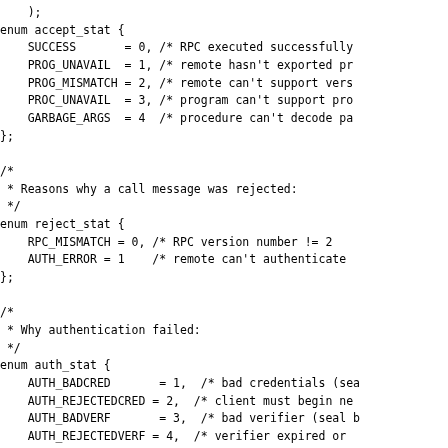enum accept_stat {
    SUCCESS       = 0, /* RPC executed successfully
    PROG_UNAVAIL  = 1, /* remote hasn't exported pr
    PROG_MISMATCH = 2, /* remote can't support vers
    PROC_UNAVAIL  = 3, /* program can't support pro
    GARBAGE_ARGS  = 4  /* procedure can't decode pa
};

/*
 * Reasons why a call message was rejected:
 */
enum reject_stat {
    RPC_MISMATCH = 0, /* RPC version number != 2
    AUTH_ERROR = 1    /* remote can't authenticate
};

/*
 * Why authentication failed:
 */
enum auth_stat {
    AUTH_BADCRED       = 1,  /* bad credentials (sea
    AUTH_REJECTEDCRED = 2,  /* client must begin ne
    AUTH_BADVERF       = 3,  /* bad verifier (seal b
    AUTH_REJECTEDVERF = 4,  /* verifier expired or
    AUTH_TOOWEAK       = 5   /* rejected for securit
};

/*
 * The  RPC  message:
 * All messages start with a transaction identific